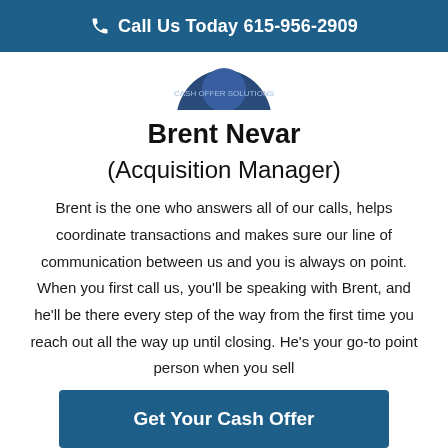Call Us Today 615-956-2909
[Figure (photo): Circular profile photo of Brent Nevar wearing a dark navy shirt, cropped at top of page]
Brent Nevar
(Acquisition Manager)
Brent is the one who answers all of our calls, helps coordinate transactions and makes sure our line of communication between us and you is always on point. When you first call us, you'll be speaking with Brent, and he'll be there every step of the way from the first time you reach out all the way up until closing. He's your go-to point person when you sell
Get Your Cash Offer